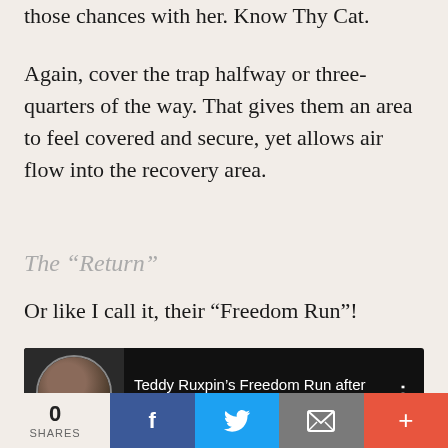those chances with her. Know Thy Cat.
Again, cover the trap halfway or three-quarters of the way. That gives them an area to feel covered and secure, yet allows air flow into the recovery area.
The “Return”
Or like I call it, their “Freedom Run”!
[Figure (screenshot): YouTube video thumbnail with title 'Teddy Ruxpin’s Freedom Run after T...' shown in a dark player interface with a circular profile photo thumbnail on the left and a three-dot menu icon on the right.]
0 SHARES [Facebook share button] [Twitter share button] [Email share button] [More button]